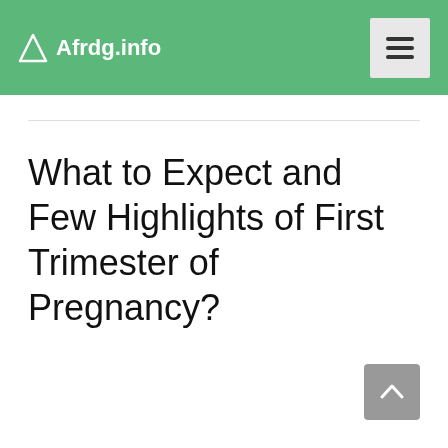Afrdg.info
What to Expect and Few Highlights of First Trimester of Pregnancy?